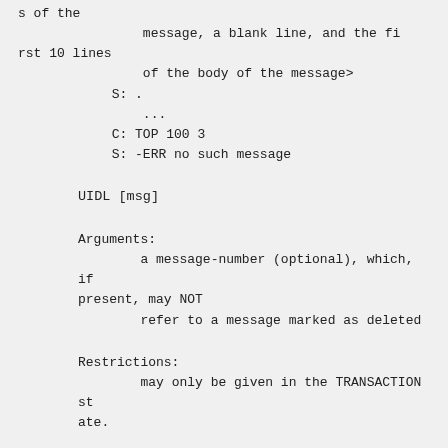s of the
                message, a blank line, and the fi
rst 10 lines
                of the body of the message>
            S: .
                ...
            C: TOP 100 3
            S: -ERR no such message
UIDL [msg]
Arguments:
        a message-number (optional), which, if
present, may NOT
        refer to a message marked as deleted
Restrictions:
        may only be given in the TRANSACTION st
ate.
Discussion:
        If an argument was given and the POP3 s